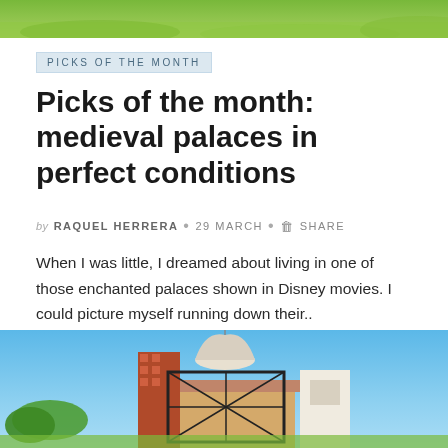[Figure (photo): Top portion of a green grassy landscape photo, cropped at top of page]
PICKS OF THE MONTH
Picks of the month: medieval palaces in perfect conditions
by RAQUEL HERRERA • 29 MARCH • SHARE
When I was little, I dreamed about living in one of those enchanted palaces shown in Disney movies. I could picture myself running down their..
[Figure (photo): Photo of a medieval-style building with dome and brick tower against a blue sky, partially visible at bottom of page]